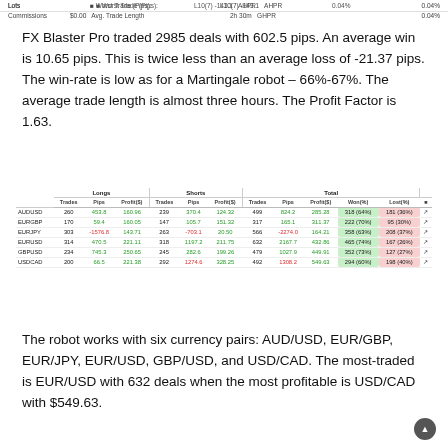Lots | Worst Trade (Pips): L10(7) -143.1 AHPR 0.04% | Commissions $0.00 | Avg. Trade Length 2h 30m GHPR 0.04%
FX Blaster Pro traded 2985 deals with 602.5 pips. An average win is 10.65 pips. This is twice less than an average loss of -21.37 pips. The win-rate is low as for a Martingale robot – 66%-67%. The average trade length is almost three hours. The Profit Factor is 1.63.
| Currency | Trades | Pips | Profit($) | Trades | Pips | Profit($) | Trades | Pips | Profit($) | Won(%) | Lost(%) |  |
| --- | --- | --- | --- | --- | --- | --- | --- | --- | --- | --- | --- | --- |
| AUDUSD | 260 | 453.8 | 160.96 | 239 | 370.4 | 124.32 | 499 | 824.2 | 285.28 | 318 (64%) | 181 (36%) |  |
| EURGBP | 170 | 59.4 | 160.05 | 147 | 105.7 | 151.32 | 317 | 165.1 | 311.37 | 222 (70%) | 95 (30%) |  |
| EURJPY | 303 | -1576.8 | 143.71 | 263 | -703.1 | 20.50 | 566 | -2274.0 | 164.21 | 358 (63%) | 208 (37%) |  |
| EURUSD | 314 | 470.5 | 221.11 | 318 | 1197.2 | 211.75 | 632 | 2167.7 | 432.86 | 465 (74%) | 167 (26%) |  |
| GBPUSD | 234 | 745.3 | 250.65 | 245 | 282.6 | 199.26 | 479 | 1027.9 | 449.91 | 352 (73%) | 127 (27%) |  |
| USDCAD | 200 | 66.5 | 221.38 | 292 | 1274.6 | 328.25 | 492 | 1308.2 | 549.63 | 294 (60%) | 198 (40%) |  |
The robot works with six currency pairs: AUD/USD, EUR/GBP, EUR/JPY, EUR/USD, GBP/USD, and USD/CAD. The most-traded is EUR/USD with 632 deals when the most profitable is USD/CAD with $549.63.